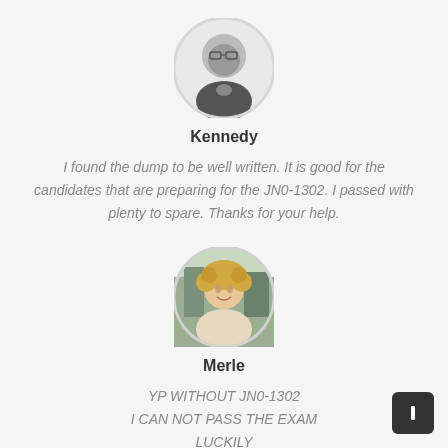[Figure (photo): Circular profile photo of Kennedy, a bearded man with glasses, black and white photo]
Kennedy
I found the dump to be well written. It is good for the candidates that are preparing for the JN0-1302. I passed with plenty to spare. Thanks for your help.
[Figure (photo): Circular profile photo of Merle, a woman with curly blonde hair, outdoor background]
Merle
YP WITHOUT JN0-1302
I CAN NOT PASS THE EXAM
LUCKILY